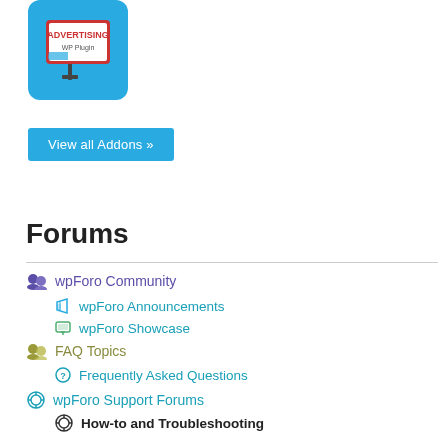[Figure (logo): wpForo or advertising plugin logo on a light blue rounded square background, showing a billboard/megaphone icon]
View all Addons »
Forums
wpForo Community
wpForo Announcements
wpForo Showcase
FAQ Topics
Frequently Asked Questions
wpForo Support Forums
How-to and Troubleshooting
General Discussions
wpForo Integration
Bug Reports
Migrate to wpForo